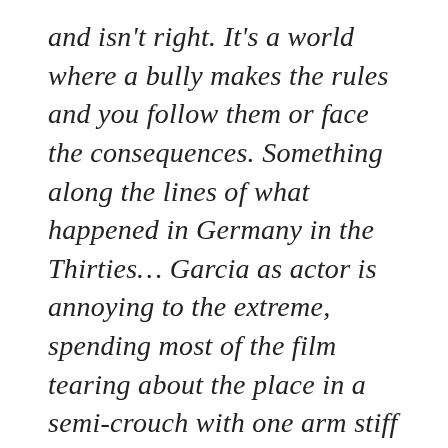and isn't right. It's a world where a bully makes the rules and you follow them or face the consequences. Something along the lines of what happened in Germany in the Thirties… Garcia as actor is annoying to the extreme, spending most of the film tearing about the place in a semi-crouch with one arm stiff by his side for some reason. He trots out his usual bits of actor's business that appear in most Garcia films. He does the scene where he grabs someone's head in both of his hands and speaks/shouts